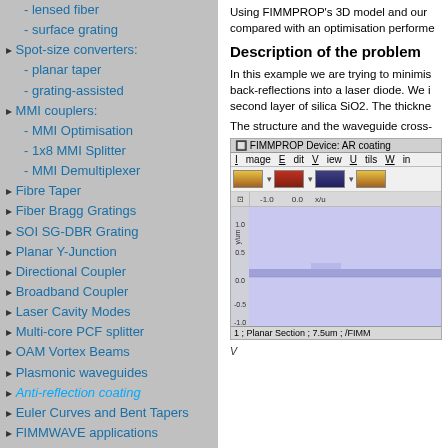- lensed fiber
- surface grating
▸ Spot-size converters:
- planar taper
- grating-assisted
▸ MMI couplers:
- MMI Optimisation
- 1x8 MMI Splitter
- MMI Demultiplexer
▸ Fibre Taper
▸ Fiber Bragg Gratings
▸ SOI SG-DBR Grating
▸ Planar Y-Junction
▸ Directional Coupler
▸ Broadband Coupler
▸ Laser Cavity Modes
▸ Multi-core PCF splitter
▸ OAM Vortex Beams
▸ Plasmonic waveguides
▸ Anti-reflection coating
▸ Euler Curves and Bent Tapers
▸ FIMMWAVE applications
Publications
Download Brochure
Request evaluation
Using FIMMPROP's 3D model and our... compared with an optimisation performe...
Description of the problem
In this example we are trying to minimis... back-reflections into a laser diode. We i... second layer of silica SiO2. The thickne...
The structure and the waveguide cross-...
[Figure (screenshot): FIMMPROP Device: AR coating window showing a planar waveguide cross-section with toolbar, menubar (Image, Edit, View, Utils, Win...), ruler, and a purple/lavender colored waveguide view with a small rectangular feature at y=0. Status bar reads: 1 ; Planar Section ; 7.5um ; /FIMM...]